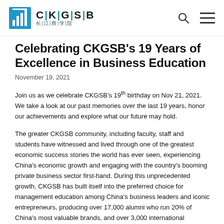CKGSB 长江商学院
Celebrating CKGSB's 19 Years of Excellence in Business Education
November 19, 2021
Join us as we celebrate CKGSB's 19th birthday on Nov 21, 2021. We take a look at our past memories over the last 19 years, honor our achievements and explore what our future may hold.
The greater CKGSB community, including faculty, staff and students have witnessed and lived through one of the greatest economic success stories the world has ever seen, experiencing China's economic growth and engaging with the country's booming private business sector first-hand. During this unprecedented growth, CKGSB has built itself into the preferred choice for management education among China's business leaders and iconic entrepreneurs, producing over 17,000 alumni who run 20% of China's most valuable brands, and over 3,000 international executives. CKGSB has collaborated with over 40 global academic and institutional partners, allowing it to provide a world-class education unlike any